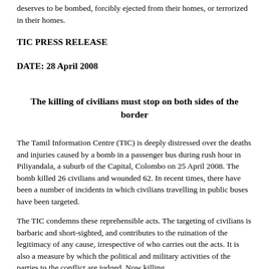deserves to be bombed, forcibly ejected from their homes, or terrorized in their homes.
TIC PRESS RELEASE
DATE: 28 April 2008
The killing of civilians must stop on both sides of the border
The Tamil Information Centre (TIC) is deeply distressed over the deaths and injuries caused by a bomb in a passenger bus during rush hour in Piliyandala, a suburb of the Capital, Colombo on 25 April 2008. The bomb killed 26 civilians and wounded 62. In recent times, there have been a number of incidents in which civilians travelling in public buses have been targeted.
The TIC condemns these reprehensible acts. The targeting of civilians is barbaric and short-sighted, and contributes to the ruination of the legitimacy of any cause, irrespective of who carries out the acts. It is also a measure by which the political and military activities of the parties to the conflict are judged. Now killing...